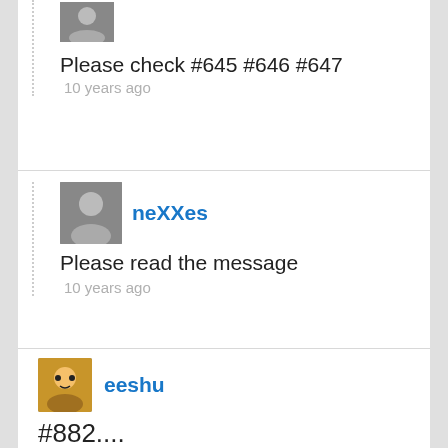Please check #645 #646 #647
10 years ago
neXXes
[Figure (photo): Avatar photo of user neXXes]
Please read the message
10 years ago
[Figure (photo): Avatar photo of user eeshu]
eeshu
#882....
10 years ago
[Figure (logo): Green avatar/logo for user realdreemz]
realdreemz
#881